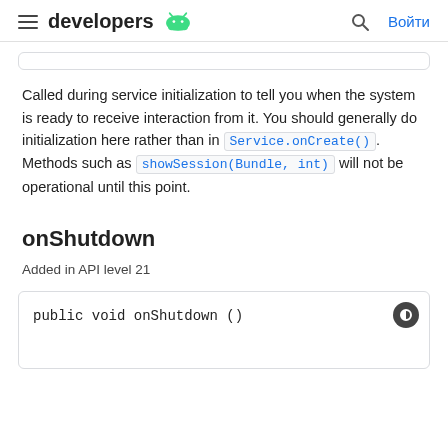developers | Войти
Called during service initialization to tell you when the system is ready to receive interaction from it. You should generally do initialization here rather than in Service.onCreate(). Methods such as showSession(Bundle, int) will not be operational until this point.
onShutdown
Added in API level 21
public void onShutdown ()